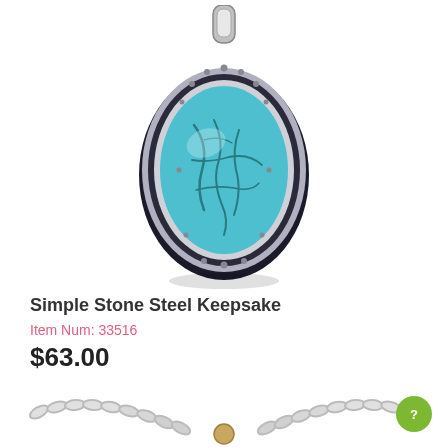[Figure (photo): A silver oval pendant necklace with a turquoise stone featuring dark vein patterns, set in an ornate silver bezel with decorative edging and a bail/loop at the top for hanging. A shadow is cast below the pendant.]
Simple Stone Steel Keepsake
Item Num: 33516
$63.00
[Figure (photo): Partial view of a silver chain necklace with a small pendant, shown from above against a white background.]